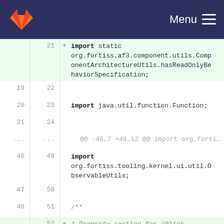GitLab Menu
21 + import static org.fortiss.af3.component.utils.ComponentArchitectureUtils.hasReadOnlyBehaviorSpecification;
19 22
20 23  import java.util.function.Function;
21 24
... ... @@ -46,7 +49,12 @@ import org.fortiss.tooling.kernel.ui.util.DataBi
46 49  import org.fortiss.tooling.kernel.ui.util.ObservableUtils;
47 50
48 51  /**
52 +  * Property section for {@link PortInitValueSection}s.
53 +  *
49 54    * @author lazyBisa
55 +  * @author $Author$
56 +  * @version $Rev$